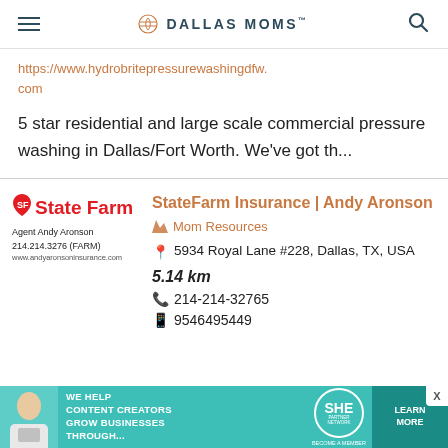DALLAS MOMS
https://www.hydrobritepressurewashingdfw.com
5 star residential and large scale commercial pressure washing in Dallas/Fort Worth. We've got th...
StateFarm Insurance | Andy Aronson
Mom Resources
5934 Royal Lane #228, Dallas, TX, USA
5.14 km
214-214-32765
9546495449
[Figure (logo): State Farm Insurance logo with agent Andy Aronson, phone 214.214.3276 (FARM), website www.andyaronsoninsurance.com]
WE HELP CONTENT CREATORS GROW BUSINESSES THROUGH... SHE PARTNER NETWORK BECOME A MEMBER LEARN MORE